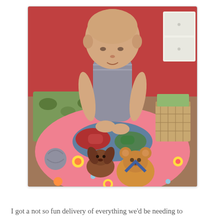[Figure (photo): A young bald child (likely undergoing cancer treatment) sitting cross-legged on a pink floral blanket on the floor, wearing a gray sleeveless shirt, looking down at stuffed animal toys in front of them. In the background there is a green patterned mat/rug, a white cabinet, and a wicker basket with items inside. The room has red/pink walls.]
I got a not so fun delivery of everything we'd be needing to